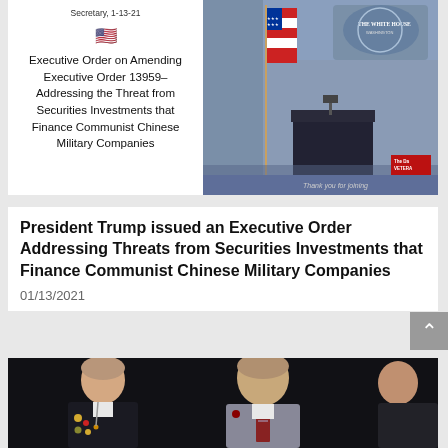Secretary, 1-13-21
[Figure (photo): US flag emoji and text: Executive Order on Amending Executive Order 13959–Addressing the Threat from Securities Investments that Finance Communist Chinese Military Companies]
[Figure (photo): White House briefing room with podium and US flag, watermark 'Thank you for joining', veteran badge in corner]
President Trump issued an Executive Order Addressing Threats from Securities Investments that Finance Communist Chinese Military Companies
01/13/2021
[Figure (photo): Two elderly men in dark setting, one wearing military medals]